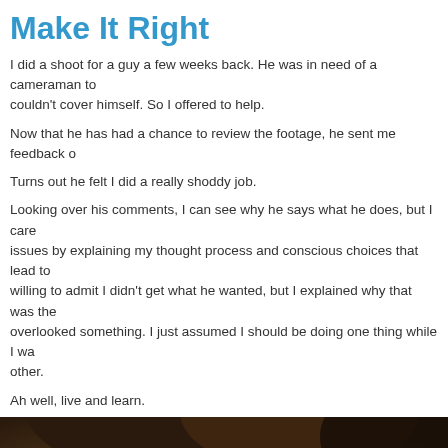Make It Right
I did a shoot for a guy a few weeks back. He was in need of a cameraman to couldn't cover himself. So I offered to help.
Now that he has had a chance to review the footage, he sent me feedback o
Turns out he felt I did a really shoddy job.
Looking over his comments, I can see why he says what he does, but I care issues by explaining my thought process and conscious choices that lead to willing to admit I didn't get what he wanted, but I explained why that was the overlooked something. I just assumed I should be doing one thing while I wa other.
Ah well, live and learn.
[Figure (photo): Close-up photo of a man with glasses, warm golden/yellow toned lighting, showing eyes and upper face area with dark hair.]